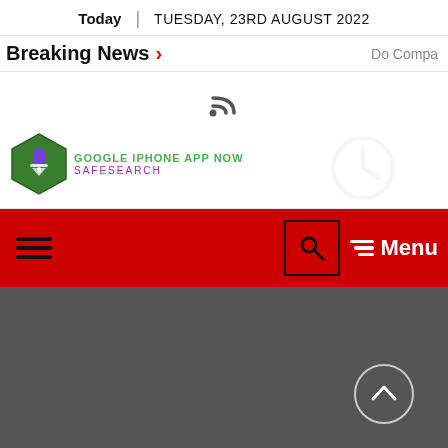Today | TUESDAY, 23RD AUGUST 2022
Breaking News >   Do Compa
[Figure (other): RSS feed icon]
[Figure (logo): Google iPhone App Now SafeSearch hexagon logo with green and purple text]
[Figure (other): Red navigation bar with hamburger menu on left, search icon in box, and Menu text with lines on right]
[Figure (other): Dark gray content area with circular scroll-to-top button with upward arrow]